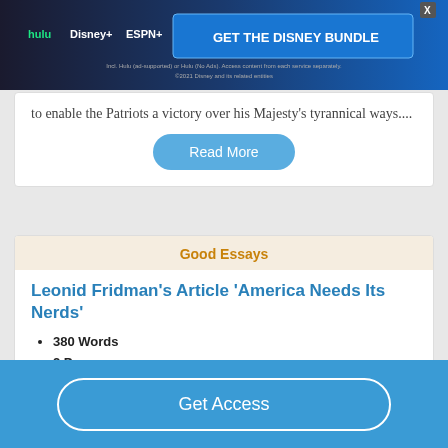[Figure (screenshot): Disney Bundle advertisement banner with Hulu, Disney+, ESPN+ logos and 'GET THE DISNEY BUNDLE' call to action button on dark blue background]
to enable the Patriots a victory over his Majesty's tyrannical ways....
Read More
Good Essays
Leonid Fridman's Article 'America Needs Its Nerds'
380 Words
2 Pages
Get Access